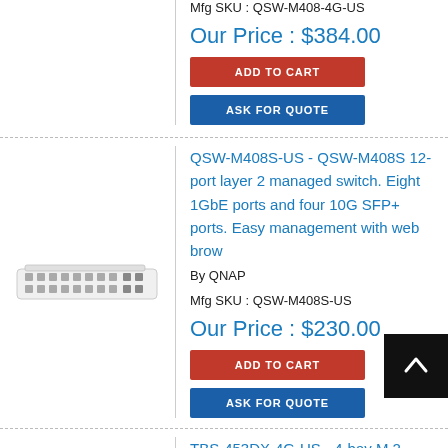Mfg SKU : QSW-M408-4G-US
Our Price : $384.00
ADD TO CART
ASK FOR QUOTE
QSW-M408S-US - QSW-M408S 12-port layer 2 managed switch. Eight 1GbE ports and four 10G SFP+ ports. Easy management with web brow
By QNAP
Mfg SKU : QSW-M408S-US
Our Price : $230.00
ADD TO CART
ASK FOR QUOTE
[Figure (photo): QNAP QSW-M408S network switch, white, front view showing ports]
TBS-453DX-4G-US - 4-bay M.2